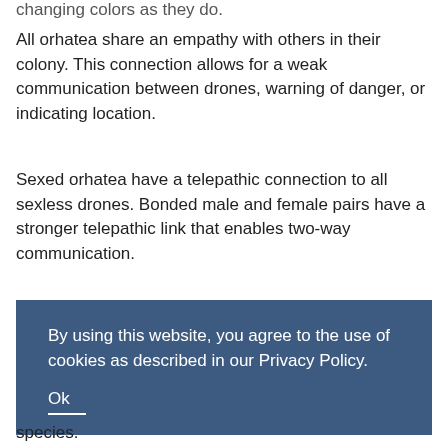changing colors as they do.
All orhatea share an empathy with others in their colony. This connection allows for a weak communication between drones, warning of danger, or indicating location.
Sexed orhatea have a telepathic connection to all sexless drones. Bonded male and female pairs have a stronger telepathic link that enables two-way communication.
By using this website, you agree to the use of cookies as described in our Privacy Policy.

Ok
species.